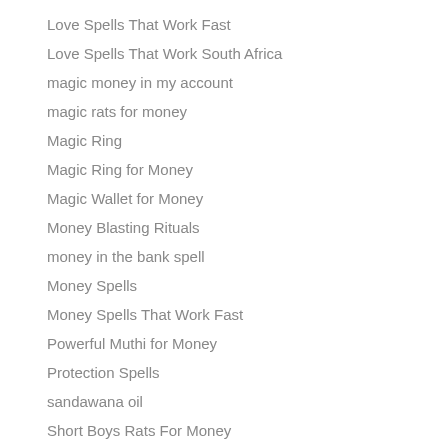Love Spells That Work Fast
Love Spells That Work South Africa
magic money in my account
magic rats for money
Magic Ring
Magic Ring for Money
Magic Wallet for Money
Money Blasting Rituals
money in the bank spell
Money Spells
Money Spells That Work Fast
Powerful Muthi for Money
Protection Spells
sandawana oil
Short Boys Rats For Money